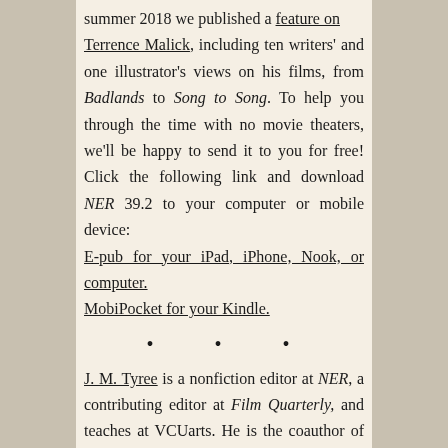summer 2018 we published a feature on Terrence Malick, including ten writers' and one illustrator's views on his films, from Badlands to Song to Song. To help you through the time with no movie theaters, we'll be happy to send it to you for free! Click the following link and download NER 39.2 to your computer or mobile device: E-pub for your iPad, iPhone, Nook, or computer. MobiPocket for your Kindle.
· · ·
J. M. Tyree is a nonfiction editor at NER, a contributing editor at Film Quarterly, and teaches at VCUarts. He is the coauthor of Our